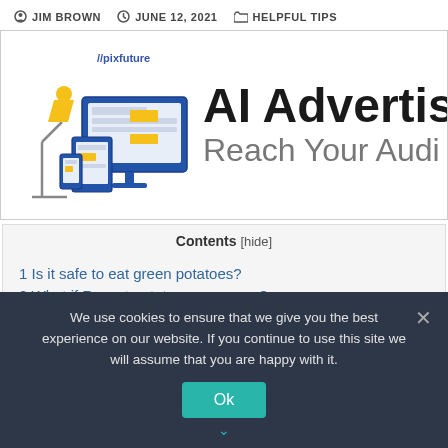JIM BROWN  JUNE 12, 2021  HELPFUL TIPS
[Figure (illustration): Pixfuture ad banner with AI Advertising illustration showing a lamp, desktop monitor, tablet and phone with //pixfuture logo. Text: AI Advertising, Reach Your Audi...]
Contents [hide]
1 Is it safe to eat green potatoes?
2 What if Russet potatoes are green?
3 How many green potatoes make you sick?
4 Is there solanine in ketchup?
5 How can you tell if a potato is dark brown or green?
We use cookies to ensure that we give you the best experience on our website. If you continue to use this site we will assume that you are happy with it.